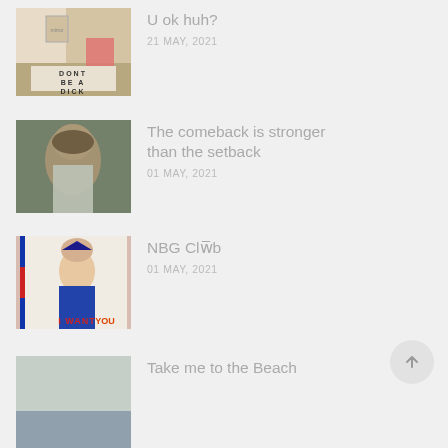[Figure (photo): Sign reading 'DONT BE A DICK' on a shelf with flowers and a mirror in background]
U ok huh?
21 MAY, 2021
[Figure (photo): Woman wearing sunglasses and a hoodie sitting against a brick wall]
The comeback is stronger than the setback
01 MAY, 2021
[Figure (photo): Uncle Sam 'I WANT YOU' style poster parody with a woman in costume]
NBG Clwb
01 MAY, 2021
[Figure (photo): Partial photo of beach scene]
Take me to the Beach